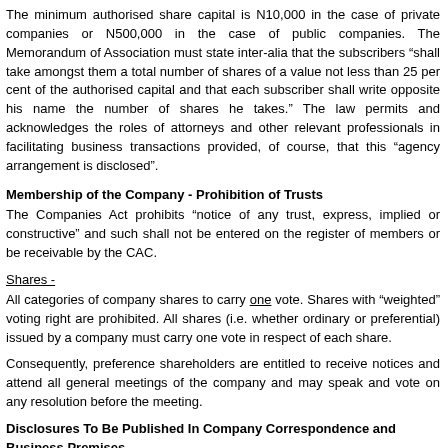The minimum authorised share capital is N10,000 in the case of private companies or N500,000 in the case of public companies. The Memorandum of Association must state inter-alia that the subscribers “shall take amongst them a total number of shares of a value not less than 25 per cent of the authorised capital and that each subscriber shall write opposite his name the number of shares he takes.” The law permits and acknowledges the roles of attorneys and other relevant professionals in facilitating business transactions provided, of course, that this “agency arrangement is disclosed”.
Membership of the Company - Prohibition of Trusts
The Companies Act prohibits “notice of any trust, express, implied or constructive” and such shall not be entered on the register of members or be receivable by the CAC.
Shares -
All categories of company shares to carry one vote. Shares with “weighted” voting right are prohibited. All shares (i.e. whether ordinary or preferential) issued by a company must carry one vote in respect of each share.
Consequently, preference shareholders are entitled to receive notices and attend all general meetings of the company and may speak and vote on any resolution before the meeting.
Disclosures To Be Published In Company Correspondence and Business Premises